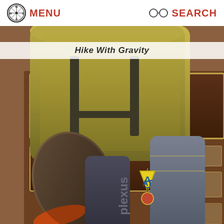MENU  SEARCH
Hike With Gravity
[Figure (photo): A backpack with hiking gear including a sleeping pad, stuff sack, and hiking shoes, propped against a brown wooden sign board for Ticalola Falls State Park mentioning Appalachian Wilderness Guides partnership. A yellow triangular Appalachian Trail (AT) marker tag is visible hanging from the pack.]